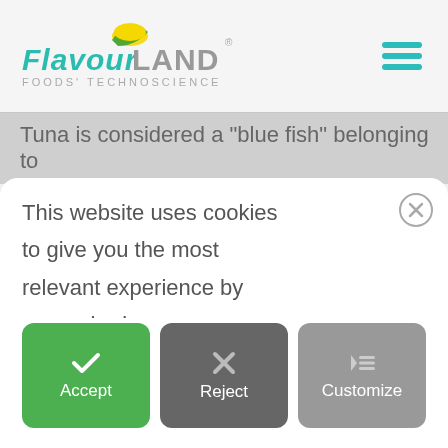[Figure (logo): Flavour Land Foods' Technoscience logo with teal script lettering and yellow/green sun icon]
[Figure (other): Teal hamburger menu icon (three horizontal lines)]
Tuna is considered a "blue fish" belonging to
This website uses cookies to give you the most relevant experience by remembering your preferences and repeat visits. By clicking "Accept", you consent to the use of all the cookies.
[Figure (other): Three buttons: Accept (green with checkmark), Reject (dark grey with X), Customize (grey with list icon)]